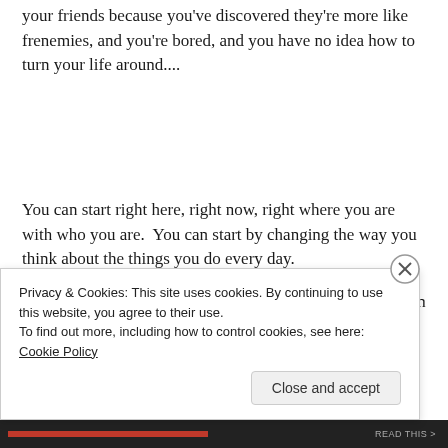your friends because you've discovered they're more like frenemies, and you're bored, and you have no idea how to turn your life around....
You can start right here, right now, right where you are with who you are.  You can start by changing the way you think about the things you do every day.
As always, start with baby steps.  Doing too much too soon
Privacy & Cookies: This site uses cookies. By continuing to use this website, you agree to their use.
To find out more, including how to control cookies, see here: Cookie Policy